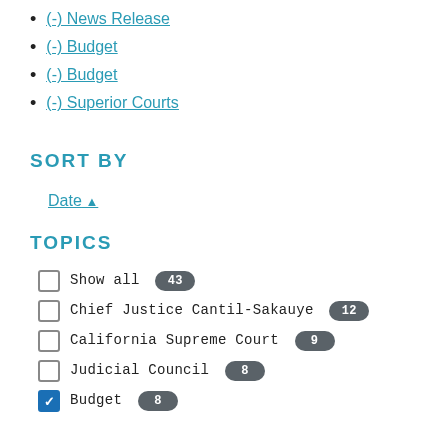(-) News Release
(-) Budget
(-) Budget
(-) Superior Courts
SORT BY
Date ▲
TOPICS
Show all 43
Chief Justice Cantil-Sakauye 12
California Supreme Court 9
Judicial Council 8
Budget 8